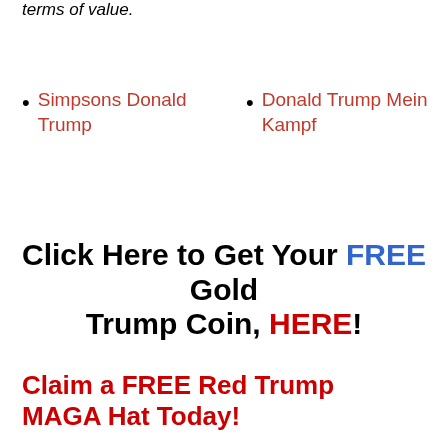terms of value.
Simpsons Donald Trump
Donald Trump Mein Kampf
Click Here to Get Your FREE Gold Trump Coin, HERE!
Claim a FREE Red Trump MAGA Hat Today!